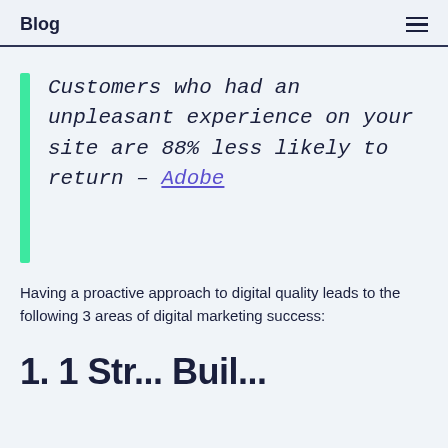Blog
Customers who had an unpleasant experience on your site are 88% less likely to return – Adobe
Having a proactive approach to digital quality leads to the following 3 areas of digital marketing success:
1. 1 St...  Buil...